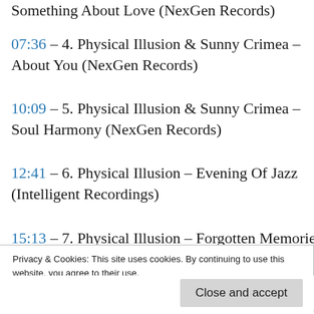Something About Love (NexGen Records)
07:36 – 4. Physical Illusion & Sunny Crimea – About You (NexGen Records)
10:09 – 5. Physical Illusion & Sunny Crimea – Soul Harmony (NexGen Records)
12:41 – 6. Physical Illusion – Evening Of Jazz (Intelligent Recordings)
15:13 – 7. Physical Illusion – Forgotten Memories (Intelligent Recordings)
17:46 – 8. Physical Illusion – Camelopard (Good Loking Records)
Privacy & Cookies: This site uses cookies. By continuing to use this website, you agree to their use.
To find out more, including how to control cookies, see here: Cookie Policy
Close and accept
– 11. Physical Illusion – [remaining text cut off]